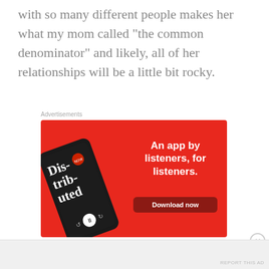with so many different people makes her what my mom called “the common denominator” and likely, all of her relationships will be a little bit rocky.
Advertisements
[Figure (screenshot): Advertisement for a podcast app showing a smartphone with 'Distributed' podcast app on red background. Text reads: 'An app by listeners, for listeners.' with a 'Download now' button.]
Advertisements